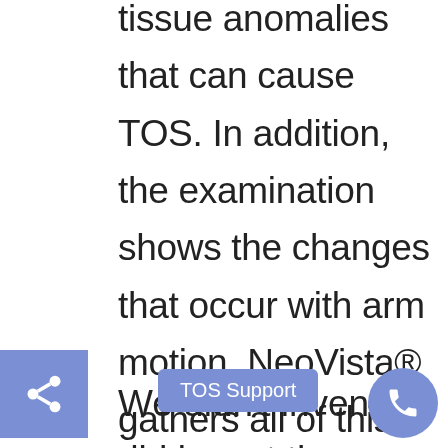and all of the known soft tissue anomalies that can cause TOS. In addition, the examination shows the changes that occur with arm motion. NeoVista® gathers all of this information in a single 45-minute exam.
We didn't invent... did invent the NeoVista®